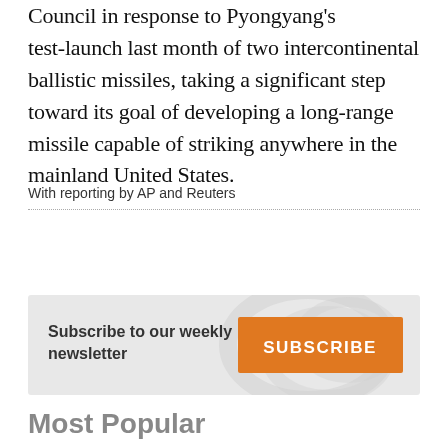Council in response to Pyongyang's test-launch last month of two intercontinental ballistic missiles, taking a significant step toward its goal of developing a long-range missile capable of striking anywhere in the mainland United States.
With reporting by AP and Reuters
[Figure (infographic): Subscribe to our weekly newsletter banner with orange SUBSCRIBE button]
Most Popular